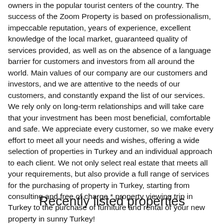owners in the popular tourist centers of the country. The success of the Zoom Property is based on professionalism, impeccable reputation, years of experience, excellent knowledge of the local market, guaranteed quality of services provided, as well as on the absence of a language barrier for customers and investors from all around the world. Main values of our company are our customers and investors, and we are attentive to the needs of our customers, and constantly expand the list of our services. We rely only on long-term relationships and will take care that your investment has been most beneficial, comfortable and safe. We appreciate every customer, so we make every effort to meet all your needs and wishes, offering a wide selection of properties in Turkey and an individual approach to each client. We not only select real estate that meets all your requirements, but also provide a full range of services for the purchasing of property in Turkey, starting from consulting and free of charge * property viewing trip in Turkey to the purchase of furniture and rental of your new property in sunny Turkey!
Recently listed properties